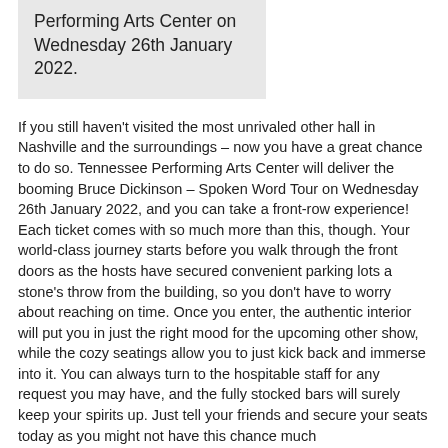Performing Arts Center on Wednesday 26th January 2022.
If you still haven't visited the most unrivaled other hall in Nashville and the surroundings – now you have a great chance to do so. Tennessee Performing Arts Center will deliver the booming Bruce Dickinson – Spoken Word Tour on Wednesday 26th January 2022, and you can take a front-row experience! Each ticket comes with so much more than this, though. Your world-class journey starts before you walk through the front doors as the hosts have secured convenient parking lots a stone's throw from the building, so you don't have to worry about reaching on time. Once you enter, the authentic interior will put you in just the right mood for the upcoming other show, while the cozy seatings allow you to just kick back and immerse into it. You can always turn to the hospitable staff for any request you may have, and the fully stocked bars will surely keep your spirits up. Just tell your friends and secure your seats today as you might not have this chance much